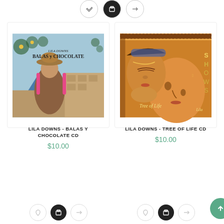[Figure (photo): Album cover for Lila Downs - Balas y Chocolate CD showing a woman in traditional clothing with mountains in background]
[Figure (photo): Album cover for Lila Downs - Tree of Life CD showing a woman's face in warm orange tones with Tree of Life text]
LILA DOWNS - BALAS Y CHOCOLATE CD
$10.00
LILA DOWNS - TREE OF LIFE CD
$10.00